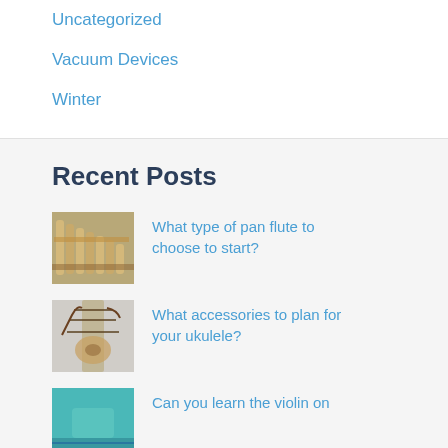Uncategorized
Vacuum Devices
Winter
Recent Posts
What type of pan flute to choose to start?
What accessories to plan for your ukulele?
Can you learn the violin on